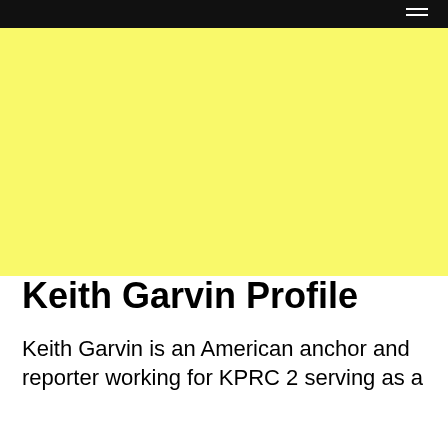[Figure (illustration): Large yellow rectangular placeholder image area]
Keith Garvin Profile
Keith Garvin is an American anchor and reporter working for KPRC 2 serving as a